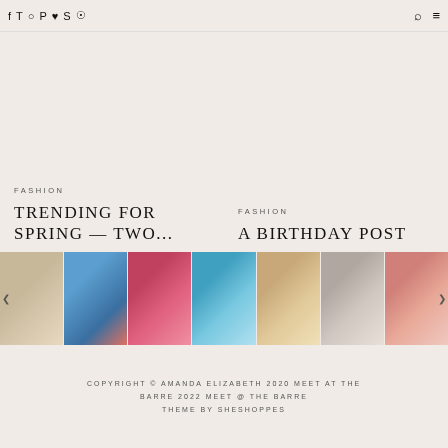f  twitter  instagram  pinterest  heart  snapchat  target  [search]  [menu]
FASHION
TRENDING FOR SPRING — TWO...
FASHION
A BIRTHDAY POST
[Figure (photo): Instagram photo strip showing 7 fashion/lifestyle photos including beach and outfit photos]
COPYRIGHT © AMANDA ELIZABETH 2020 MEET AT THE BARRE 2022 MEET @ THE BARRE THEME BY SHESHOPPES